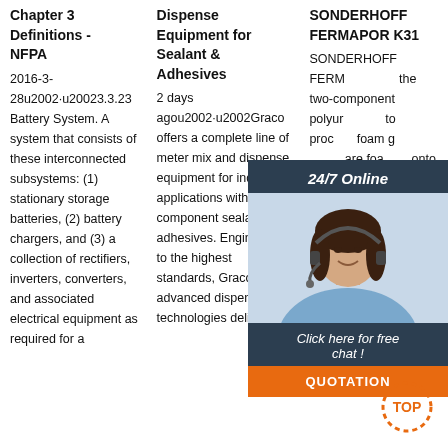Chapter 3 Definitions - NFPA
2016-3-28u2002·u20023.3.23 Battery System. A system that consists of these interconnected subsystems: (1) stationary storage batteries, (2) battery chargers, and (3) a collection of rectifiers, inverters, converters, and associated electrical equipment as required for a
Dispense Equipment for Sealant & Adhesives
2 days agou2002·u2002Graco offers a complete line of meter mix and dispense equipment for industrial applications with two-component sealants and adhesives. Engineered to the highest standards, Graco advanced dispensing technologies deliver
SONDERHOFF FERMAPOR K31
SONDERHOFF FERMAPOR K31 the two-component polyurethane system to produce PU soft foam gaskets which are foamed directly onto the part. FIPFG system (Formed-In-Place Foam-Gasket). They are directly foamed onto the part with the aid of mixing and dispensing systems and FIPEG sealing
[Figure (photo): Customer service chat widget showing a woman with headset, dark banner with '24/7 Online' text, 'Click here for free chat!' text, and orange QUOTATION button]
[Figure (other): Orange decorative TOP badge/button in lower right corner]